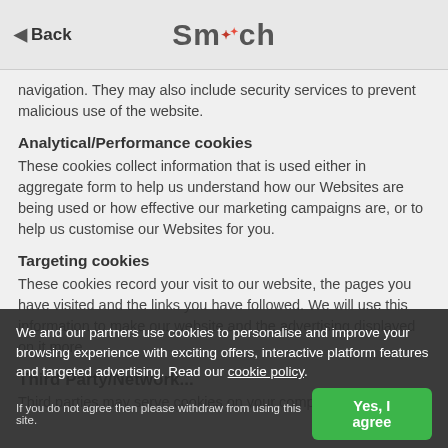Back | Smooch
navigation. They may also include security services to prevent malicious use of the website.
Analytical/Performance cookies
These cookies collect information that is used either in aggregate form to help us understand how our Websites are being used or how effective our marketing campaigns are, or to help us customise our Websites for you.
Targeting cookies
These cookies record your visit to our website, the pages you have visited and the links you have followed. We will use this information to make our website and the advertising displayed on it more
We and our partners use cookies to personalise and improve your browsing experience with exciting offers, interactive platform features and targeted advertising. Read our cookie policy.
If you do not agree then please withdraw from using this site.
Third Patry/Network...
Third parties may serve cookies on your computer o...